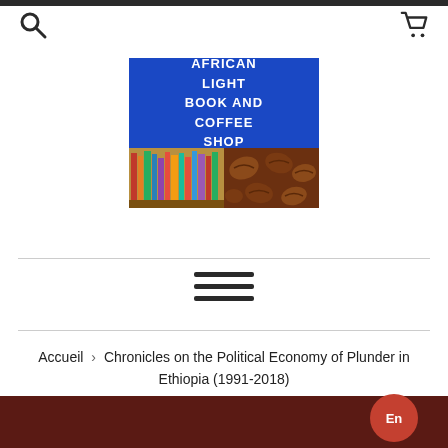[Figure (logo): African Light Book and Coffee Shop logo — blue top half with white bold text reading AFRICAN LIGHT BOOK AND COFFEE SHOP with decorative stars, bottom half split between bookshelf image and coffee beans image]
[Figure (other): Hamburger menu icon — three horizontal dark bars stacked vertically]
Accueil › Chronicles on the Political Economy of Plunder in Ethiopia (1991-2018)
En